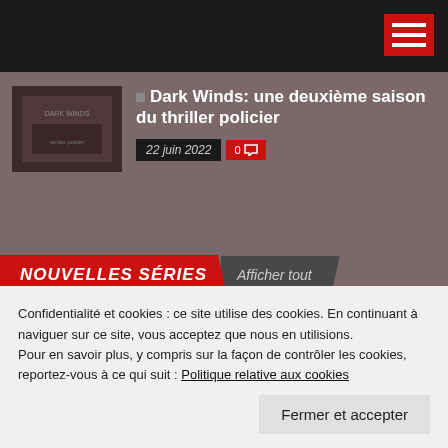Navigation bar with hamburger menu
Dark Winds: une deuxième saison du thriller policier
22 juin 2022  0
NOUVELLES SÉRIES   Afficher tout
[Figure (illustration): Fantasy warrior figure with wings and golden spear against cloudy sky background]
Confidentialité et cookies : ce site utilise des cookies. En continuant à naviguer sur ce site, vous acceptez que nous en utilisions.
Pour en savoir plus, y compris sur la façon de contrôler les cookies, reportez-vous à ce qui suit : Politique relative aux cookies
Fermer et accepter